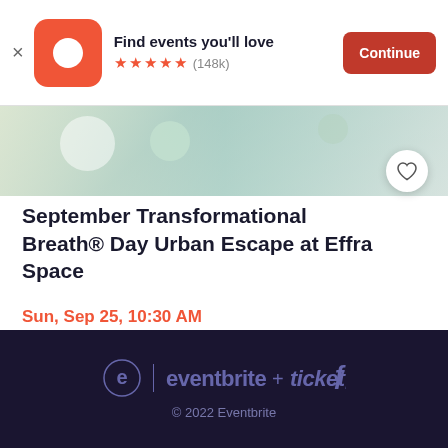[Figure (screenshot): Eventbrite app banner with logo, 'Find events you'll love', 5 star rating (148k reviews), and Continue button]
[Figure (photo): Partial event hero image showing table setting with cups and greenery]
September Transformational Breath® Day Urban Escape at Effra Space
Sun, Sep 25, 10:30 AM
Effra Space • Brixton
£125 - £150
[Figure (logo): Eventbrite + Ticketfly combined logo in footer]
© 2022 Eventbrite